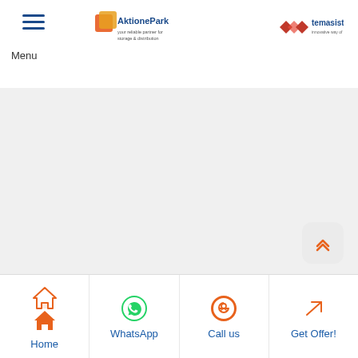Menu | AktionePark logo | Temasist logo
[Figure (screenshot): Gray empty content area of a mobile web page]
Home | WhatsApp | Call us | Get Offer!